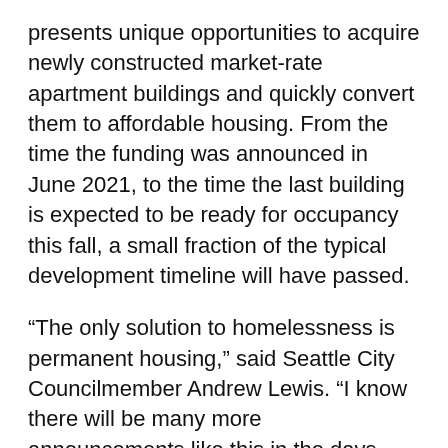presents unique opportunities to acquire newly constructed market-rate apartment buildings and quickly convert them to affordable housing. From the time the funding was announced in June 2021, to the time the last building is expected to be ready for occupancy this fall, a small fraction of the typical development timeline will have passed.
“The only solution to homelessness is permanent housing,” said Seattle City Councilmember Andrew Lewis. “I know there will be many more announcements like this in the days ahead, as the City fulfills its moral obligation to help all its residents find safe, comfortable, and individually appropriate places to live. Securing these 165